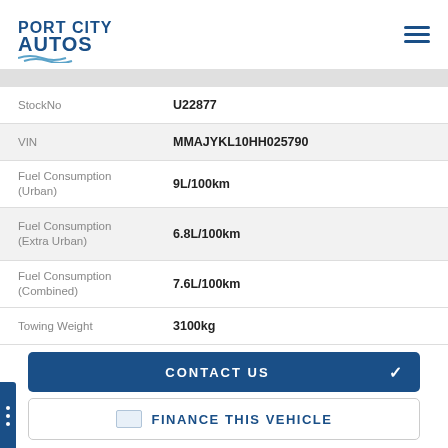PORT CITY AUTOS
| Field | Value |
| --- | --- |
| StockNo | U22877 |
| VIN | MMAJYKL10HH025790 |
| Fuel Consumption (Urban) | 9L/100km |
| Fuel Consumption (Extra Urban) | 6.8L/100km |
| Fuel Consumption (Combined) | 7.6L/100km |
| Towing Weight | 3100kg |
CONTACT US
FINANCE THIS VEHICLE